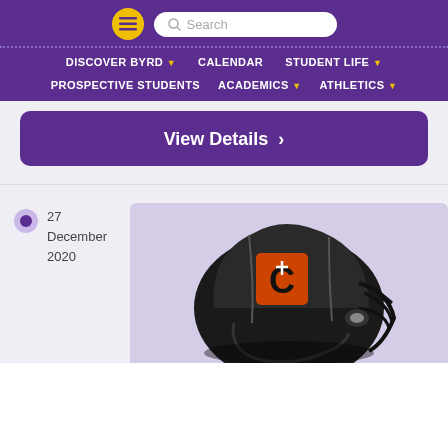Menu | Search
DISCOVER BYRD | CALENDAR | STUDENT LIFE | PROSPECTIVE STUDENTS | ACADEMICS | ATHLETICS
View Details
27 December 2020
[Figure (photo): Black football helmet with orange and black C letter logo]